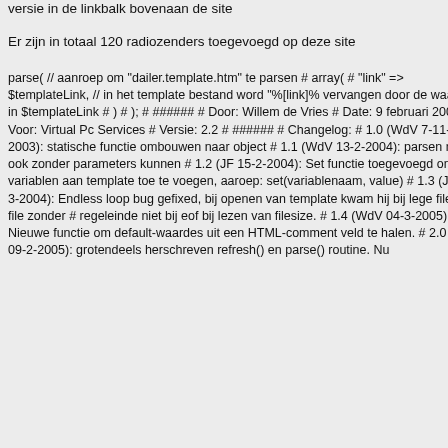versie in de linkbalk bovenaan de site
Er zijn in totaal 120 radiozenders toegevoegd op deze site
parse( // aanroep om "dailer.template.htm" te parsen # array( # "link" => $templateLink, // in het template bestand word "%[link]% vervangen door de waarde in $templateLink # ) # ); # ###### # Door: Willem de Vries # Date: 9 februari 2005 # Voor: Virtual Pc Services # Versie: 2.2 # ###### # Changelog: # 1.0 (WdV 7-11-2003): statische functie ombouwen naar object # 1.1 (WdV 13-2-2004): parsen moet ook zonder parameters kunnen # 1.2 (JF 15-2-2004): Set functie toegevoegd om variablen aan template toe te voegen, aaroep: set(variablenaam, value) # 1.3 (JF 24-3-2004): Endless loop bug gefixed, bij openen van template kwam hij bij lege file of file zonder # regeleinde niet bij eof bij lezen van filesize. # 1.4 (WdV 04-3-2005): Nieuwe functie om default-waardes uit een HTML-comment veld te halen. # 2.0 (WdV 09-2-2005): grotendeels herschreven refresh() en parse() routine. Nu
Contact Hardstyle
Radio 23 Techno
Hardcore, Hardstyle & Harddance
90s Rave Radio
Absolut
Break Pirates
Bre
cybercore radio
da h
EILO Gabbafreakz Radio
Hard Clubberz Radio
Har
Hardcore Radio.nl
Har
Kanal Hardstyle
K
Q-dance Radio
Rad